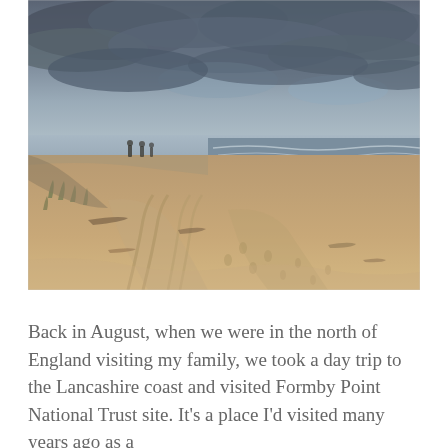[Figure (photo): A wide sandy beach on an overcast day. The sky is grey and cloudy with patches of lighter blue. Rough waves crash on the shoreline to the right. Two people stand far in the distance on the left. The sandy beach stretches forward in the foreground with footprints and tyre tracks visible.]
Back in August, when we were in the north of England visiting my family, we took a day trip to the Lancashire coast and visited Formby Point National Trust site. It's a place I'd visited many years ago as a